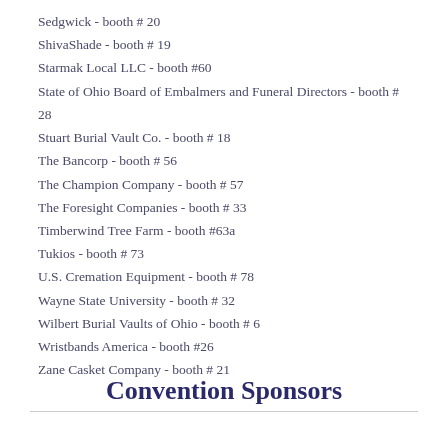Sedgwick - booth # 20
ShivaShade - booth # 19
Starmak Local LLC - booth #60
State of Ohio Board of Embalmers and Funeral Directors - booth # 28
Stuart Burial Vault Co. - booth # 18
The Bancorp - booth # 56
The Champion Company - booth # 57
The Foresight Companies - booth # 33
Timberwind Tree Farm - booth #63a
Tukios - booth # 73
U.S. Cremation Equipment - booth # 78
Wayne State University - booth # 32
Wilbert Burial Vaults of Ohio - booth # 6
Wristbands America - booth #26
Zane Casket Company - booth # 21
Convention Sponsors